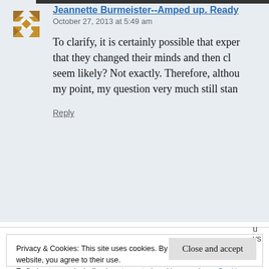Jeannette Burmeister--Amped up. Ready
October 27, 2013 at 5:49 am
To clarify, it is certainly possible that exper... that they changed their minds and then cl... seem likely? Not exactly. Therefore, althou... my point, my question very much still stan...
Reply
Privacy & Cookies: This site uses cookies. By continuing to use this website, you agree to their use.
To find out more, including how to control cookies, see here: Cookie Policy
Close and accept